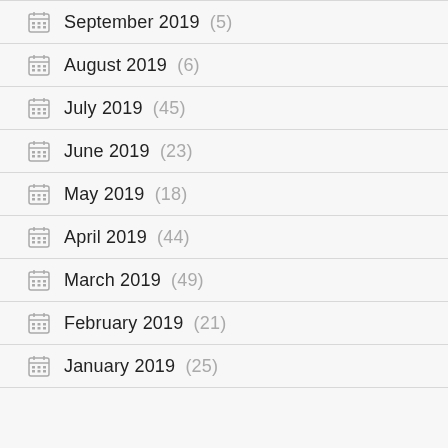September 2019 (5)
August 2019 (6)
July 2019 (45)
June 2019 (23)
May 2019 (18)
April 2019 (44)
March 2019 (49)
February 2019 (21)
January 2019 (25)